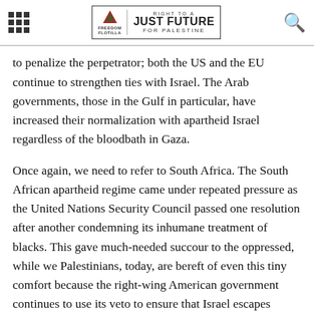RIGHT TO A JUST FUTURE FOR PALESTINE — Freedom Flotilla
to penalize the perpetrator; both the US and the EU continue to strengthen ties with Israel. The Arab governments, those in the Gulf in particular, have increased their normalization with apartheid Israel regardless of the bloodbath in Gaza.
Once again, we need to refer to South Africa. The South African apartheid regime came under repeated pressure as the United Nations Security Council passed one resolution after another condemning its inhumane treatment of blacks. This gave much-needed succour to the oppressed, while we Palestinians, today, are bereft of even this tiny comfort because the right-wing American government continues to use its veto to ensure that Israel escapes censure.
Today, there is a growing grassroots struggle inside Palestine, much as there was inside apartheid South Africa. An intensified international solidarity movement with a common